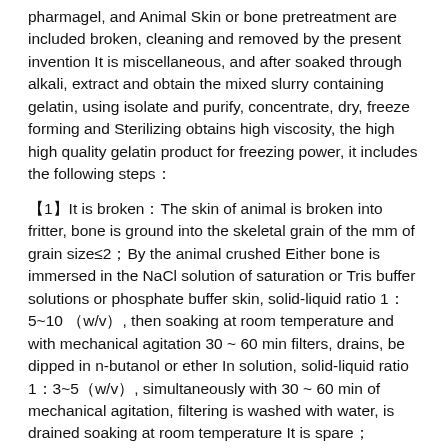pharmagel, and Animal Skin or bone pretreatment are included broken, cleaning and removed by the present invention It is miscellaneous, and after soaked through alkali, extract and obtain the mixed slurry containing gelatin, using isolate and purify, concentrate, dry, freeze forming and Sterilizing obtains high viscosity, the high high quality gelatin product for freezing power, it includes the following steps：
【1】It is broken：The skin of animal is broken into fritter, bone is ground into the skeletal grain of the mm of grain size≤2；By the animal crushed Either bone is immersed in the NaCl solution of saturation or Tris buffer solutions or phosphate buffer skin, solid-liquid ratio 1：5~10 （w/v）, then soaking at room temperature and with mechanical agitation 30 ~ 60 min filters, drains, be dipped in n-butanol or ether In solution, solid-liquid ratio 1：3~5（w/v）, simultaneously with 30 ~ 60 min of mechanical agitation, filtering is washed with water, is drained soaking at room temperature It is spare；
【2】Alkali leaching is handled：Onal or skeletal grain lime are impregnated 24 ~ 30 hours, change ash for several